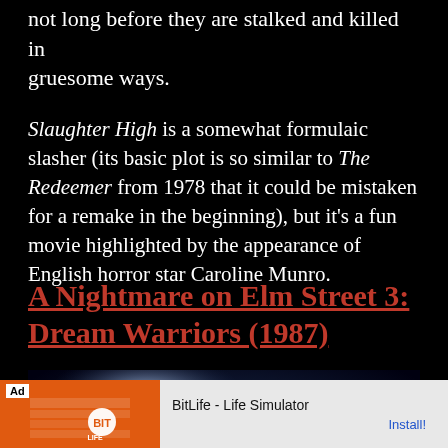not long before they are stalked and killed in gruesome ways.
Slaughter High is a somewhat formulaic slasher (its basic plot is so similar to The Redeemer from 1978 that it could be mistaken for a remake in the beginning), but it's a fun movie highlighted by the appearance of English horror star Caroline Munro.
A Nightmare on Elm Street 3: Dream Warriors (1987)
[Figure (photo): Dark cinematic still showing a hooded figure bent over with syringes/needles visible in foreground and background, blue lighting]
Ad | BitLife - Life Simulator | Install!